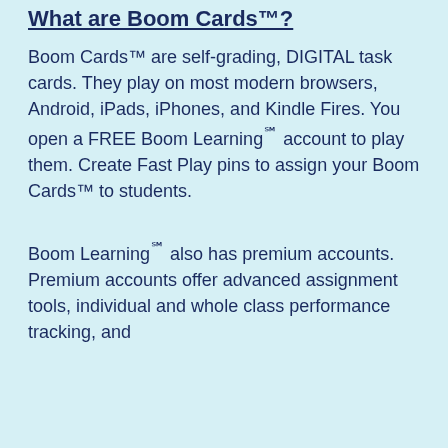What are Boom Cards™?
Boom Cards™ are self-grading, DIGITAL task cards. They play on most modern browsers, Android, iPads, iPhones, and Kindle Fires. You open a FREE Boom Learning℠ account to play them. Create Fast Play pins to assign your Boom Cards™ to students.
Boom Learning℠ also has premium accounts. Premium accounts offer advanced assignment tools, individual and whole class performance tracking, and